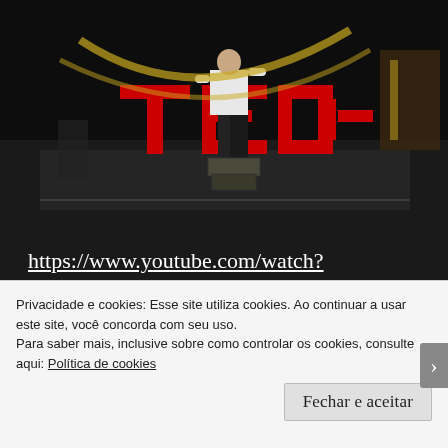[Figure (photo): TED stage photo showing a performer standing on wooden crates in front of large red TED letters, wearing white shirt and dark pants, dramatic stage lighting]
https://www.youtube.com/watch?v=xMj_P_6H69g Don't make people pay for music, says Amanda Palmer. Let them. In a passionate talk that begins in her days as a
Privacidade e cookies: Esse site utiliza cookies. Ao continuar a usar este site, você concorda com seu uso.
Para saber mais, inclusive sobre como controlar os cookies, consulte aqui: Política de cookies
Fechar e aceitar